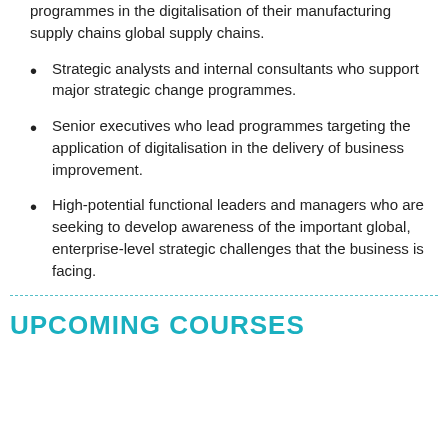programmes in the digitalisation of their manufacturing supply chains global supply chains.
Strategic analysts and internal consultants who support major strategic change programmes.
Senior executives who lead programmes targeting the application of digitalisation in the delivery of business improvement.
High-potential functional leaders and managers who are seeking to develop awareness of the important global, enterprise-level strategic challenges that the business is facing.
UPCOMING COURSES